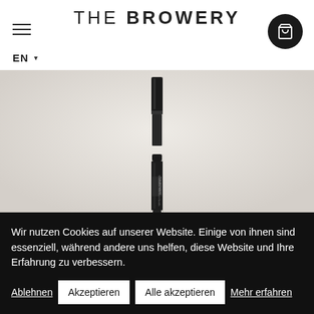THE BROWERY
[Figure (photo): Two brow pencils/cosmetic products photographed on a light stone surface — one upright showing the tip, one showing the label end]
Wir nutzen Cookies auf unserer Website. Einige von ihnen sind essenziell, während andere uns helfen, diese Website und Ihre Erfahrung zu verbessern.
Ablehnen
Akzeptieren
Alle akzeptieren
Mehr erfahren